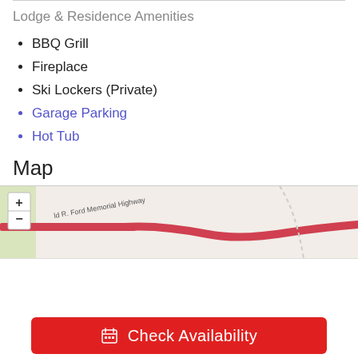Lodge & Residence Amenities
BBQ Grill
Fireplace
Ski Lockers (Private)
Garage Parking
Hot Tub
Map
[Figure (map): Street map showing Gerald R. Ford Memorial Highway area with zoom controls]
Check Availability